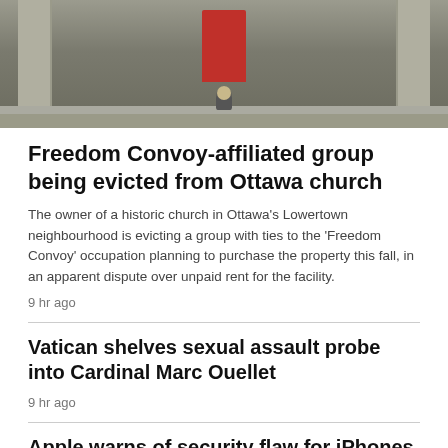[Figure (photo): A person sitting on the steps of a historic stone church with large pillars and a red door]
Freedom Convoy-affiliated group being evicted from Ottawa church
The owner of a historic church in Ottawa's Lowertown neighbourhood is evicting a group with ties to the 'Freedom Convoy' occupation planning to purchase the property this fall, in an apparent dispute over unpaid rent for the facility.
9 hr ago
Vatican shelves sexual assault probe into Cardinal Marc Ouellet
9 hr ago
Apple warns of security flaw for iPhones, iPads and Macs